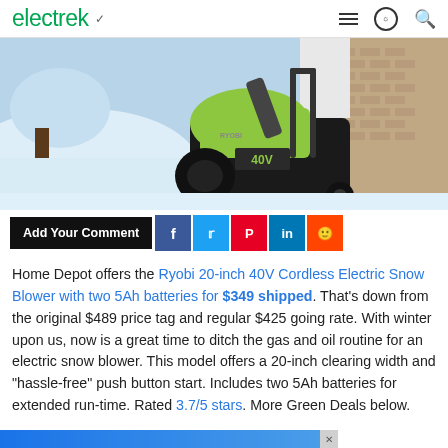electrek
[Figure (photo): Ryobi 40V cordless electric snow blower (yellow-green and black) being used near a garage with snow-covered ground and brick wall in background]
Add Your Comment
Home Depot offers the Ryobi 20-inch 40V Cordless Electric Snow Blower with two 5Ah batteries for $349 shipped. That's down from the original $489 price tag and regular $425 going rate. With winter upon us, now is a great time to ditch the gas and oil routine for an electric snow blower. This model offers a 20-inch clearing width and "hassle-free" push button start. Includes two 5Ah batteries for extended run-time. Rated 3.7/5 stars. More Green Deals below.